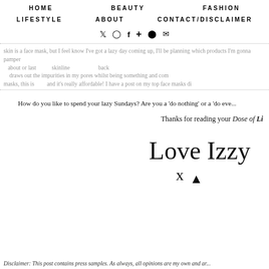HOME | BEAUTY | FASHION | LIFESTYLE | ABOUT | CONTACT/DISCLAIMER
Social icons: Twitter, Instagram, Facebook, Google+, Snapchat, Email
...skin is a face mask but I feel know I've got a lazy day coming up, I'll be planning which products I'm gonna pamper ...about or last ... skinline ... draws out the impurities in my pores whilst being something and com... masks, this is ... and it's really affordable! I have a post on my top face masks d... from 7th Heaven, and a few other I-model c...
How do you like to spend your lazy Sundays? Are you a 'do nothing' or a 'do eve...
Thanks for reading your Dose of Li...
[Figure (illustration): Handwritten cursive signature reading 'Love Izzy' with an 'x' kiss mark below]
Disclaimer: This post contains press samples. As always, all opinions are my own and ar...